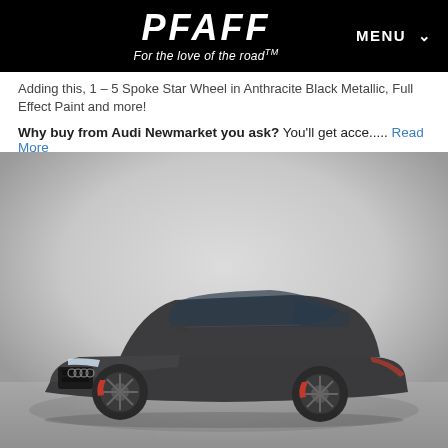PFAFF — For the love of the road™  MENU
Adding this, 1 – 5 Spoke Star Wheel in Anthracite Black Metallic, Full Effect Paint and more!
Why buy from Audi Newmarket you ask? You'll get acce..... Read More
[Figure (photo): Grey Audi S4 sedan photographed in 3/4 front view on a grey gradient studio background. The car has red brake calipers, dark 5-spoke alloy wheels, and a black grille.]